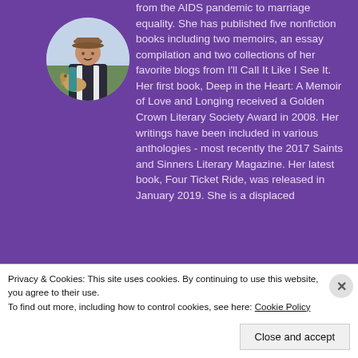[Figure (photo): Circular profile photo of a person wearing a hat and holding a dog, set against a purple background]
from the AIDS pandemic to marriage equality. She has published five nonfiction books including two memoirs, an essay compilation and two collections of her favorite blogs from I'll Call It Like I See It. Her first book, Deep in the Heart: A Memoir of Love and Longing received a Golden Crown Literary Society Award in 2008. Her writings have been included in various anthologies - most recently the 2017 Saints and Sinners Literary Magazine. Her latest book, Four Ticket Ride, was released in January 2019. She is a displaced
Privacy & Cookies: This site uses cookies. By continuing to use this website, you agree to their use.
To find out more, including how to control cookies, see here: Cookie Policy